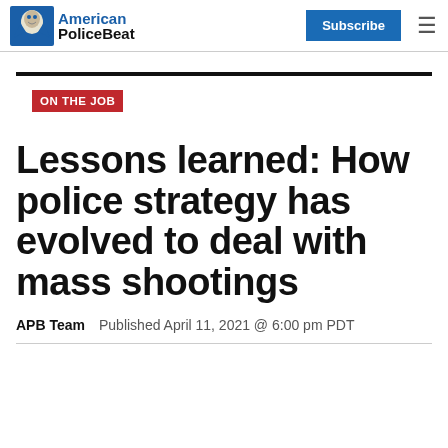American PoliceBeat | Subscribe
ON THE JOB
Lessons learned: How police strategy has evolved to deal with mass shootings
APB Team   Published April 11, 2021 @ 6:00 pm PDT